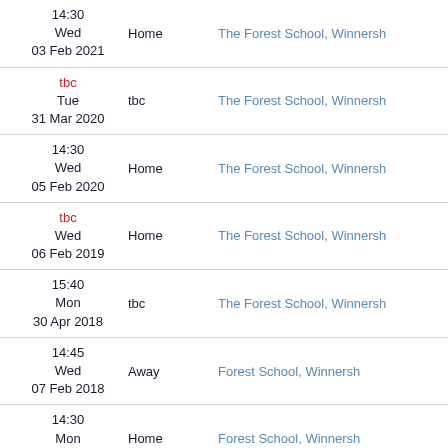| Date/Time | Venue | School |
| --- | --- | --- |
| 14:30
Wed
03 Feb 2021 | Home | The Forest School, Winnersh |
| tbc
Tue
31 Mar 2020 | tbc | The Forest School, Winnersh |
| 14:30
Wed
05 Feb 2020 | Home | The Forest School, Winnersh |
| tbc
Wed
06 Feb 2019 | Home | The Forest School, Winnersh |
| 15:40
Mon
30 Apr 2018 | tbc | The Forest School, Winnersh |
| 14:45
Wed
07 Feb 2018 | Away | Forest School, Winnersh |
| 14:30
Mon
22 Jan 2018 | Home | Forest School, Winnersh |
| 14:45
Wed
(partial) | Home | Forest School, Winnersh |